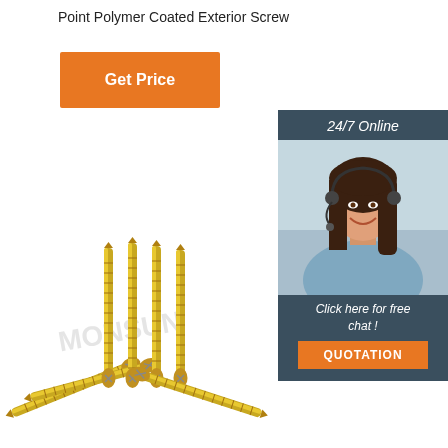Point Polymer Coated Exterior Screw
Get Price
[Figure (photo): Customer service representative (woman with headset) with '24/7 Online' header and 'Click here for free chat!' text and QUOTATION button]
[Figure (photo): Photo of multiple gold/yellow zinc-plated polymer coated exterior screws with Phillips head, arranged in a fan pattern]